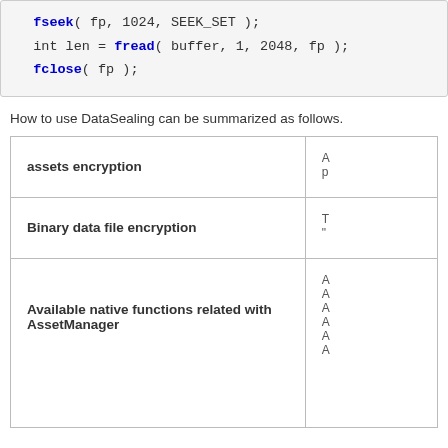fseek( fp, 1024, SEEK_SET );
int len = fread( buffer, 1, 2048, fp );
fclose( fp );
How to use DataSealing can be summarized as follows.
|  |  |
| --- | --- |
| assets encryption | A
p |
| Binary data file encryption | T
" |
| Available native functions related with AssetManager | A
A
A
A
A
A |